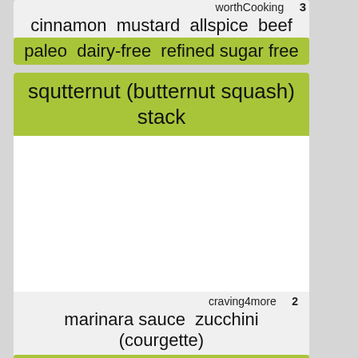worthCooking   3
cinnamon  mustard  allspice  beef
paleo  dairy-free  refined sugar free
squtternut (butternut squash) stack
[Figure (photo): White empty area representing a recipe image for squtternut butternut squash stack]
craving4more   2
marinara sauce  zucchini (courgette)
weekend  italian  gluten free